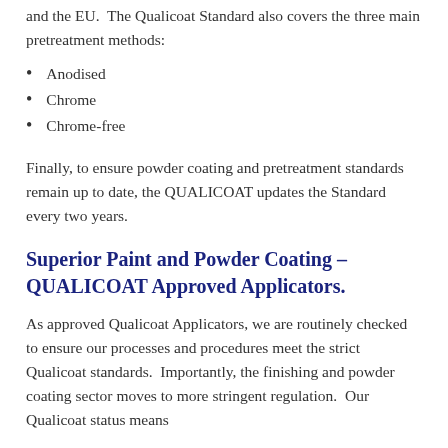and the EU.  The Qualicoat Standard also covers the three main pretreatment methods:
Anodised
Chrome
Chrome-free
Finally, to ensure powder coating and pretreatment standards remain up to date, the QUALICOAT updates the Standard every two years.
Superior Paint and Powder Coating – QUALICOAT Approved Applicators.
As approved Qualicoat Applicators, we are routinely checked to ensure our processes and procedures meet the strict Qualicoat standards.  Importantly, the finishing and powder coating sector moves to more stringent regulation.  Our Qualicoat status means